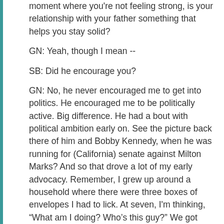moment where you're not feeling strong, is your relationship with your father something that helps you stay solid?
GN: Yeah, though I mean --
SB: Did he encourage you?
GN: No, he never encouraged me to get into politics. He encouraged me to be politically active. Big difference. He had a bout with political ambition early on. See the picture back there of him and Bobby Kennedy, when he was running for (California) senate against Milton Marks? And so that drove a lot of my early advocacy. Remember, I grew up around a household where there were three boxes of envelopes I had to lick. At seven, I'm thinking, “What am I doing? Who’s this guy?” We got involved in the grass roots level early on, and I would show up and volunteer.
  So I was always politically involved – Tom Bradley’s campaign for governor – I remember that early on. I really thought, at times, back in it. They always had said it, I’ve